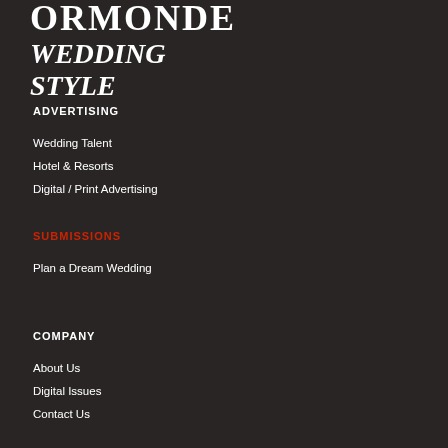ORMONDE WEDDING STYLE
ADVERTISING
Wedding Talent
Hotel & Resorts
Digital / Print Advertising
SUBMISSIONS
Plan a Dream Wedding
COMPANY
About Us
Digital Issues
Contact Us